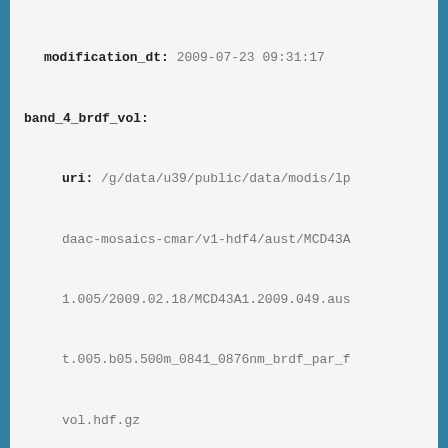modification_dt: 2009-07-23 09:31:17
band_4_brdf_vol:
  uri: /g/data/u39/public/data/modis/lpdaac-mosaics-cmar/v1-hdf4/aust/MCD43A1.005/2009.02.18/MCD43A1.2009.049.aust.005.b05.500m_0841_0876nm_brdf_par_fvol.hdf.gz
  name: MCD43A1.2009.049.aust.005.b05.500m_0841_0876nm_brdf_par_fvol.hdf.gz
  type: band_4_brdf_vol
  access_dt: 2016-06-14 05:18:36
  file_owner: Matt Paget
  modification_dt: 2009-07-23 09:31:23
band_5_brdf_geo:
  uri: /g/data/u39/public/data/modis/lpdaac-mosaics-cmar/v1-hdf4/aust/MCD43A1.005/2009.02.18/MCD43A1.2009.049.aust.005.b18.500m_1628_1652nm_brdf_par_fgeo.hdf.gz